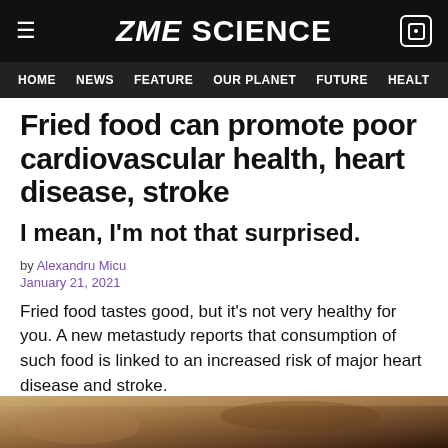ZME SCIENCE
HOME NEWS FEATURE OUR PLANET FUTURE HEALT
Fried food can promote poor cardiovascular health, heart disease, stroke
I mean, I'm not that surprised.
by Alexandru Micu
January 21, 2021
Fried food tastes good, but it's not very healthy for you. A new metastudy reports that consumption of such food is linked to an increased risk of major heart disease and stroke.
[Figure (photo): Bottom portion of a food photograph, partially visible at the bottom of the page.]